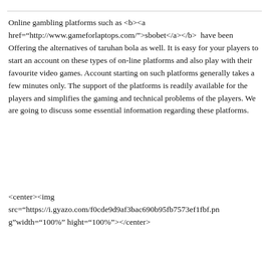Online gambling platforms such as <b><a href="http://www.gameforlaptops.com/">sbobet</a></b>  have been Offering the alternatives of taruhan bola as well. It is easy for your players to start an account on these types of on-line platforms and also play with their favourite video games. Account starting on such platforms generally takes a few minutes only. The support of the platforms is readily available for the players and simplifies the gaming and technical problems of the players. We are going to discuss some essential information regarding these platforms.
<center><img src="https://i.gyazo.com/f0cde9d9af3bac690b95fb7573ef1fbf.png"width="100%" hight="100%"></center>